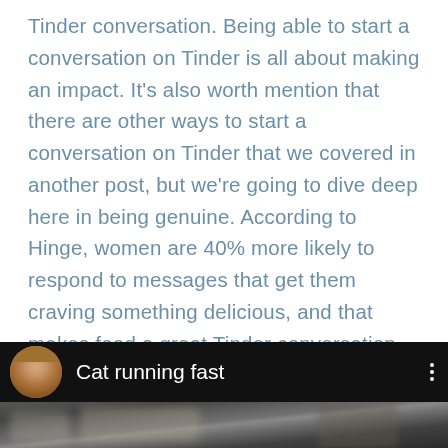Tinder conversation. Being able to start a conversation on Tinder is all about making an impact. It's also worth mention that there are other ways to start a conversation on Tinder that we covered in another post, but we're going to dive deep here in being genuine. According to Hinge, women are 40% more likely to respond to messages that get them craving something delicious, and that makes food a great Tinder conversation topic. Trust me, you don't want to come across as the kind of person who has a stock Tinder conversation starter question in their back pocket.
[Figure (screenshot): Video player interface with black background showing a circular avatar of an older man, the title 'Cat running fast', three-dot menu icon, and a blurred video thumbnail below.]